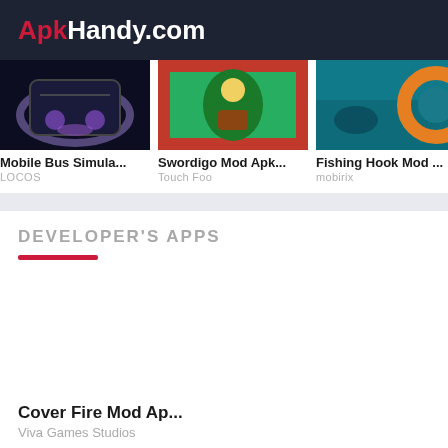ApkHandy.com
[Figure (screenshot): Thumbnail image for Mobile Bus Simulator app, dark background with vehicle lights]
Mobile Bus Simula...
LOCOS
[Figure (screenshot): Thumbnail image for Swordigo Mod Apk, red border with green fantasy scene]
Swordigo Mod Apk...
Touch Foo
[Figure (screenshot): Thumbnail image for Fishing Hook Mod, teal background with orange ring/hook]
Fishing Hook Mod ...
mobirix
DEVELOPER'S APPS
Cover Fire Mod Ap...
Viva Games Studios